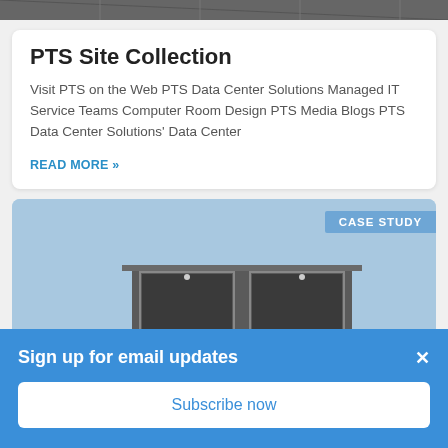[Figure (photo): Top cropped photo of a data center or building with grid pattern, dark tones]
PTS Site Collection
Visit PTS on the Web PTS Data Center Solutions Managed IT Service Teams Computer Room Design PTS Media Blogs PTS Data Center Solutions' Data Center
READ MORE »
[Figure (photo): Case study card with light blue sky background showing top of a building/door structure, with a 'CASE STUDY' badge in upper right]
Sign up for email updates
Subscribe now